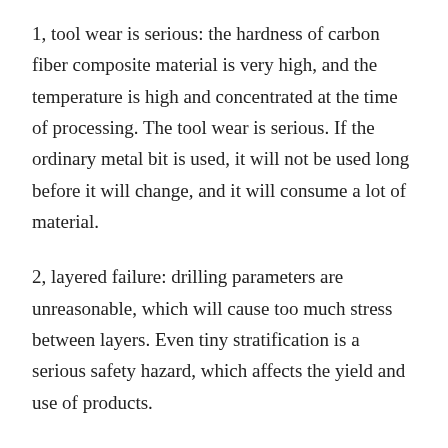1, tool wear is serious: the hardness of carbon fiber composite material is very high, and the temperature is high and concentrated at the time of processing. The tool wear is serious. If the ordinary metal bit is used, it will not be used long before it will change, and it will consume a lot of material.
2, layered failure: drilling parameters are unreasonable, which will cause too much stress between layers. Even tiny stratification is a serious safety hazard, which affects the yield and use of products.
3, the accuracy is not easy to meet the requirement: carbon fiber composite material is anisotropic